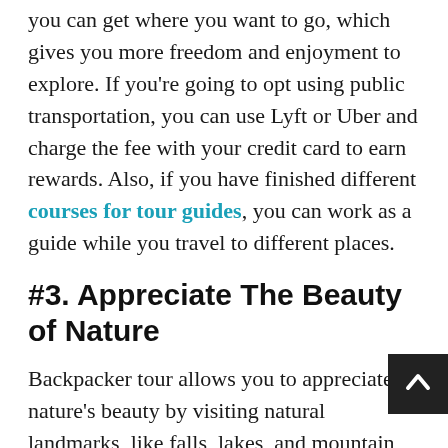you can get where you want to go, which gives you more freedom and enjoyment to explore. If you're going to opt using public transportation, you can use Lyft or Uber and charge the fee with your credit card to earn rewards. Also, if you have finished different courses for tour guides, you can work as a guide while you travel to different places.
#3. Appreciate The Beauty of Nature
Backpacker tour allows you to appreciate nature's beauty by visiting natural landmarks, like falls, lakes, and mountain regions, where you can have a close encounter with wildlife creatures.
A backpacker tour is not luxury travel. You can spl... and shop all you want, but rather a more meaningful experience of appreciating all life forms, including rare...